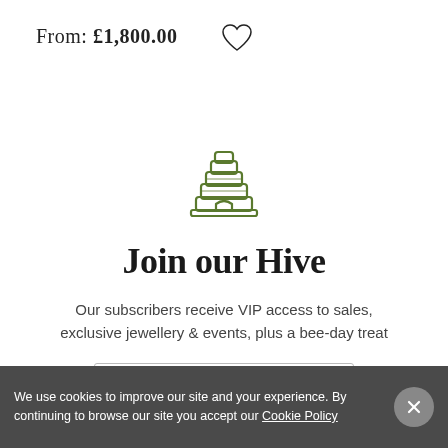From: £1,800.00
[Figure (logo): Green beehive logo icon (stacked tiers with arched door)]
Join our Hive
Our subscribers receive VIP access to sales, exclusive jewellery & events, plus a bee-day treat
Enter your email address
We use cookies to improve our site and your experience. By continuing to browse our site you accept our Cookie Policy